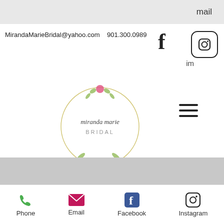mail
MirandaMarieBridal@yahoo.com  901.300.0989
im
[Figure (logo): Miranda Marie Bridal circular floral logo]
Sun - Mon: Open by special request
9369 Goodman Road
Olive Branch, MS 38654
Book Appointment
[Figure (infographic): Footer contact icons: Phone, Email, Facebook, Instagram]